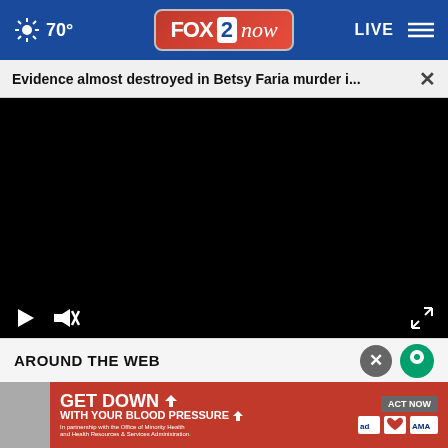70° FOX 2 now LIVE
Evidence almost destroyed in Betsy Faria murder i...
[Figure (screenshot): Black video player area with play button, mute button, and fullscreen expand button on dark background]
AROUND THE WEB
[Figure (infographic): Red advertisement banner: GET DOWN WITH YOUR BLOOD PRESSURE with ACT NOW button and logos including ad council, American Heart Association, and AMA. In partnership with the Office of Minority Health and Health Resources & Services Administration.]